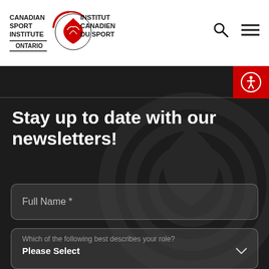[Figure (logo): Canadian Sport Institute Ontario logo with red swoosh bird emblem, text in English and French, ONTARIO below]
[Figure (infographic): Search icon (magnifying glass) and hamburger menu icon in header]
Stay up to date with our newsletters!
Full Name *
Which of the following best describes your role? Please Select
Email Address*